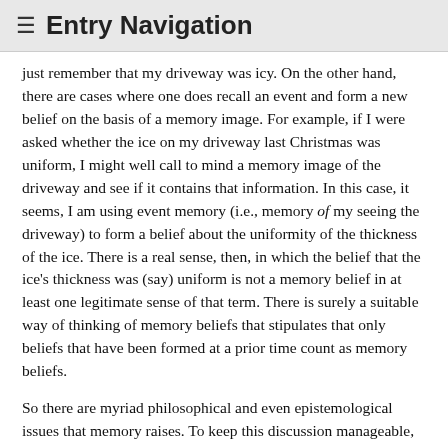≡ Entry Navigation
just remember that my driveway was icy. On the other hand, there are cases where one does recall an event and form a new belief on the basis of a memory image. For example, if I were asked whether the ice on my driveway last Christmas was uniform, I might well call to mind a memory image of the driveway and see if it contains that information. In this case, it seems, I am using event memory (i.e., memory of my seeing the driveway) to form a belief about the uniformity of the thickness of the ice. There is a real sense, then, in which the belief that the ice's thickness was (say) uniform is not a memory belief in at least one legitimate sense of that term. There is surely a suitable way of thinking of memory beliefs that stipulates that only beliefs that have been formed at a prior time count as memory beliefs.
So there are myriad philosophical and even epistemological issues that memory raises. To keep this discussion manageable, we will have to narrow our focus a bit. First, we will be concerned in what follows only with the epistemology of memory beliefs. But as we've